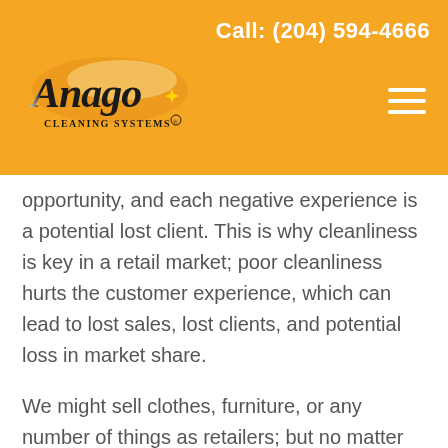Call: (204) 594-4666
[Figure (logo): Anago Cleaning Systems logo on orange background]
opportunity, and each negative experience is a potential lost client. This is why cleanliness is key in a retail market; poor cleanliness hurts the customer experience, which can lead to lost sales, lost clients, and potential loss in market share.
We might sell clothes, furniture, or any number of things as retailers; but no matter what we sell, our clients are